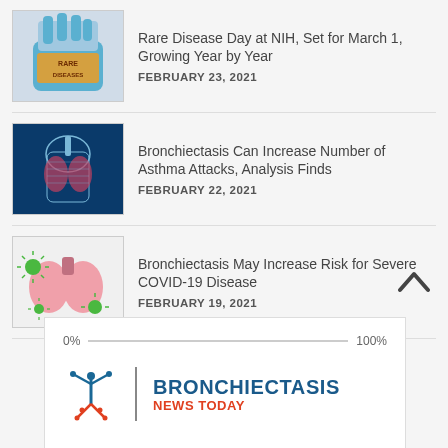[Figure (photo): Gloved hand holding a block labeled RARE DISEASES]
Rare Disease Day at NIH, Set for March 1, Growing Year by Year
FEBRUARY 23, 2021
[Figure (illustration): X-ray style illustration of human torso with highlighted lungs]
Bronchiectasis Can Increase Number of Asthma Attacks, Analysis Finds
FEBRUARY 22, 2021
[Figure (illustration): Illustration of pink lungs with green COVID virus particles]
Bronchiectasis May Increase Risk for Severe COVID-19 Disease
FEBRUARY 19, 2021
[Figure (logo): Bronchiectasis News Today logo with progress bar showing 0% to 100%]